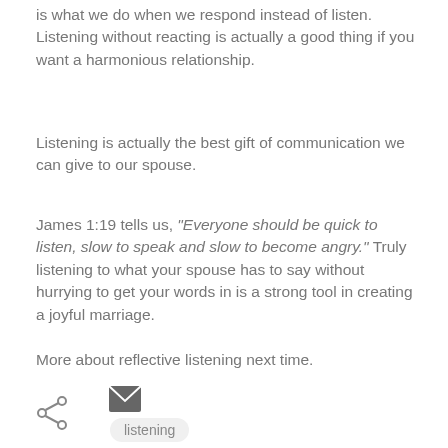is what we do when we respond instead of listen. Listening without reacting is actually a good thing if you want a harmonious relationship.
Listening is actually the best gift of communication we can give to our spouse.
James 1:19 tells us, “Everyone should be quick to listen, slow to speak and slow to become angry.” Truly listening to what your spouse has to say without hurrying to get your words in is a strong tool in creating a joyful marriage.
More about reflective listening next time.
[Figure (other): Email icon (envelope) and share icon]
listening